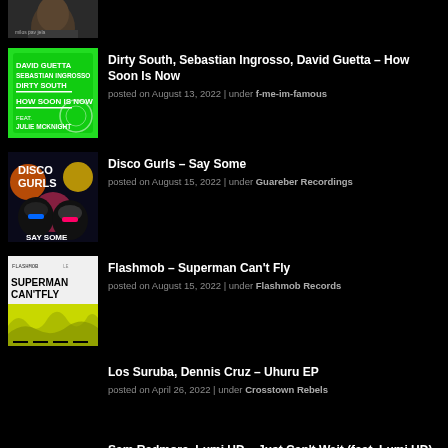[Figure (photo): Partial album/artist photo at top, cropped]
Dirty South, Sebastian Ingrosso, David Guetta – How Soon Is Now
posted on August 13, 2022 | under f-me-im-famous
[Figure (photo): Green album cover: David Guetta, Sebastian Ingrosso, Dirty South – How Soon Is Now feat. Julie McKnight]
Disco Gurls – Say Some
posted on August 15, 2022 | under Guareber Recordings
[Figure (photo): Disco Gurls – Say Some album cover]
Flashmob – Superman Can't Fly
posted on August 15, 2022 | under Flashmob Records
[Figure (photo): Flashmob – Superman Can't Fly album cover, white background with text]
Los Suruba, Dennis Cruz – Uhuru EP
posted on April 26, 2022 | under Crosstown Rebels
Sam Redmore, Lumi HD – Just Can't Wait (feat. Lumi HD) [Kid Creme Remix]